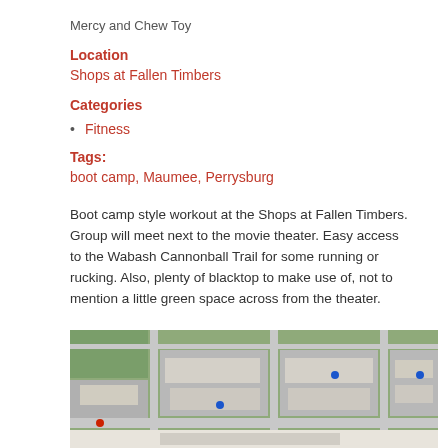Mercy and Chew Toy
Location
Shops at Fallen Timbers
Categories
Fitness
Tags:
boot camp, Maumee, Perrysburg
Boot camp style workout at the Shops at Fallen Timbers. Group will meet next to the movie theater. Easy access to the Wabash Cannonball Trail for some running or rucking. Also, plenty of blacktop to make use of, not to mention a little green space across from the theater.
[Figure (photo): Aerial/satellite view of Shops at Fallen Timbers shopping center showing parking lots and buildings]